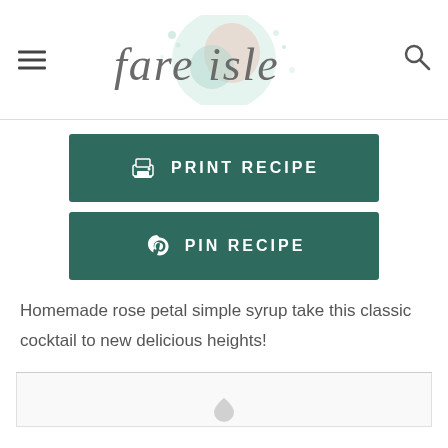fare isle
[Figure (other): Print Recipe button - dark teal/green rectangle with printer icon and text PRINT RECIPE in white bold uppercase letters]
[Figure (other): Pin Recipe button - dark teal/green rectangle with Pinterest P icon and text PIN RECIPE in white bold uppercase letters]
Homemade rose petal simple syrup take this classic cocktail to new delicious heights!
[Figure (other): Bottom box area with partial icon visible at the bottom edge]